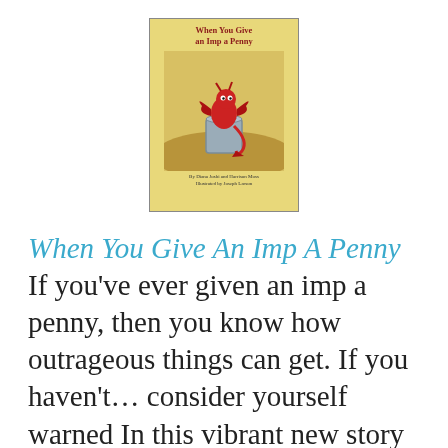[Figure (illustration): Book cover of 'When You Give an Imp a Penny' showing a red imp/dragon creature sitting in a bucket on a yellow/sandy background, with author and illustrator credits at the bottom.]
When You Give An Imp A Penny If you've ever given an imp a penny, then you know how outrageous things can get. If you haven't… consider yourself warned In this vibrant new story from the writer and illustrator behind Monster Goose Nursery Rhymes, a well-